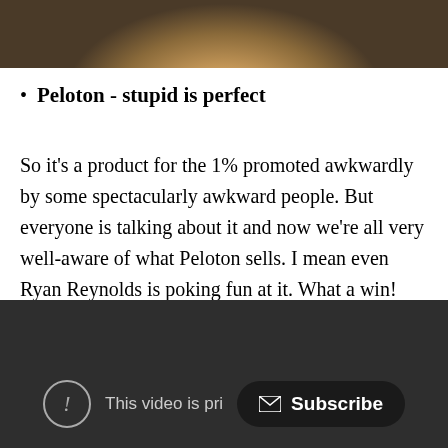[Figure (photo): Top portion of a person's face/hair, cropped photo at the top of the page]
Peloton - stupid is perfect
So it's a product for the 1% promoted awkwardly by some spectacularly awkward people. But everyone is talking about it and now we're all very well-aware of what Peloton sells. I mean even Ryan Reynolds is poking fun at it. What a win!
[Figure (screenshot): Screenshot of a YouTube video player showing a private video message with a circle exclamation icon, 'This video is pri...' text, and a Subscribe button with envelope icon on dark background]